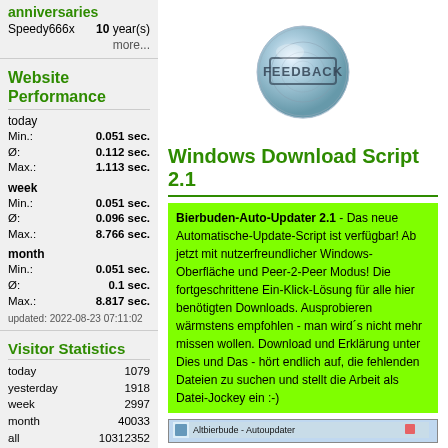anniversaries
Speedy666x   10 year(s)
more...
Website Performance
today
Min.: 0.051 sec.
Ø: 0.112 sec.
Max.: 1.113 sec.

week
Min.: 0.051 sec.
Ø: 0.096 sec.
Max.: 8.766 sec.

month
Min.: 0.051 sec.
Ø: 0.1 sec.
Max.: 8.817 sec.
updated: 2022-08-23 07:11:02
Visitor Statistics
today      1079
yesterday  1918
week       2997
month     40033
all     10312352
updated: 2022-08-23 08:04:01
It's hot or not?
[Figure (illustration): A blue-grey metallic button/badge with the word FEEDBACK stamped on it]
Windows Download Script 2.1
Bierbuden-Auto-Updater 2.1 - Das neue Automatische-Update-Script ist verfügbar! Ab jetzt mit nutzerfreundlicher Windows-Oberfläche und Peer-2-Peer Modus! Die fortgeschrittene Ein-Klick-Lösung für alle hier benötigten Downloads. Ausprobieren wärmstens empfohlen - man wird´s nicht mehr missen wollen. Download und Erklärung unter Dies und Das - hört endlich auf, die fehlenden Dateien zu suchen und stellt die Arbeit als Datei-Jockey ein :-)
[Figure (screenshot): Altbierbude - Autoupdater application window screenshot]